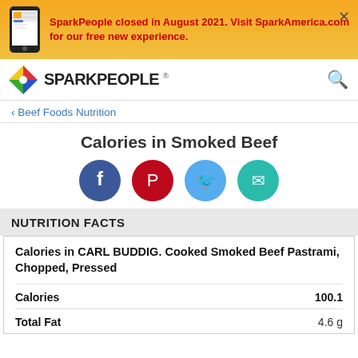SparkPeople closed in August 2021. Visit SparkAmerica.com for our free new experience.
[Figure (logo): SparkPeople logo with colorful diamond icon and bold SPARKPEOPLE text]
‹ Beef Foods Nutrition
Calories in Smoked Beef
[Figure (infographic): Social share buttons: Facebook, Pinterest, Twitter, Email]
NUTRITION FACTS
Calories in CARL BUDDIG. Cooked Smoked Beef Pastrami, Chopped, Pressed
| Nutrient | Value |
| --- | --- |
| Calories | 100.1 |
| Total Fat | 4.6 g |